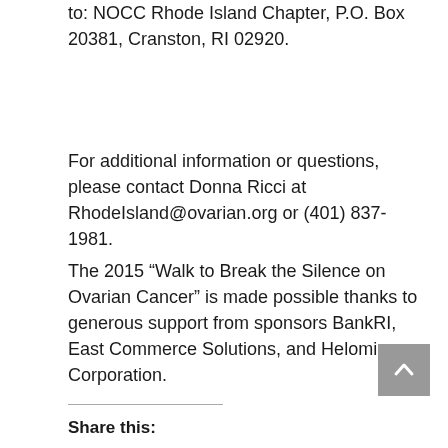to: NOCC Rhode Island Chapter, P.O. Box 20381, Cranston, RI 02920.
For additional information or questions, please contact Donna Ricci at RhodeIsland@ovarian.org or (401) 837-1981.
The 2015 “Walk to Break the Silence on Ovarian Cancer” is made possible thanks to generous support from sponsors BankRI, East Commerce Solutions, and Helomics Corporation.
Share this: